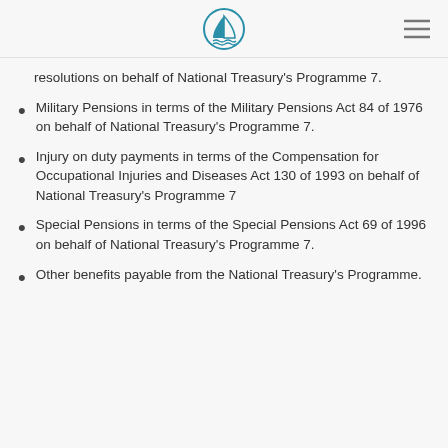[Navigation logo and menu icon]
resolutions on behalf of National Treasury's Programme 7.
Military Pensions in terms of the Military Pensions Act 84 of 1976 on behalf of National Treasury's Programme 7.
Injury on duty payments in terms of the Compensation for Occupational Injuries and Diseases Act 130 of 1993 on behalf of National Treasury's Programme 7
Special Pensions in terms of the Special Pensions Act 69 of 1996 on behalf of National Treasury's Programme 7.
Other benefits payable from the National Treasury's Programme.